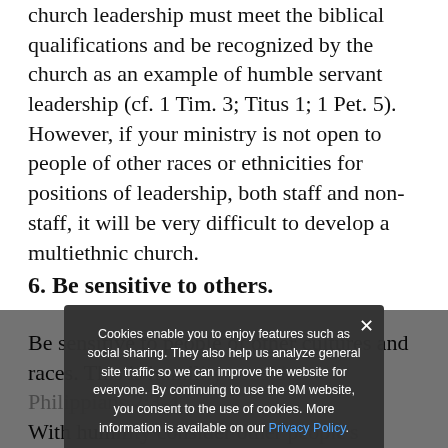church leadership must meet the biblical qualifications and be recognized by the church as an example of humble servant leadership (cf. 1 Tim. 3; Titus 1; 1 Pet. 5). However, if your ministry is not open to people of other races or ethnicities for positions of leadership, both staff and non-staff, it will be very difficult to develop a multiethnic church.
6. Be sensitive to others.
Be sensitive to people of other cultures and races. This is humble ... Philippians 2:3-4. With humility consider other people's interests before ... important ... church, it would be good not to overemphasize issues relating to your particular culture if you know there will be some who do not identify with
Cookies enable you to enjoy features such as social sharing. They also help us analyze general site traffic so we can improve the website for everyone. By continuing to use the 9M website, you consent to the use of cookies. More information is available on our Privacy Policy.
Ik ga akkoord